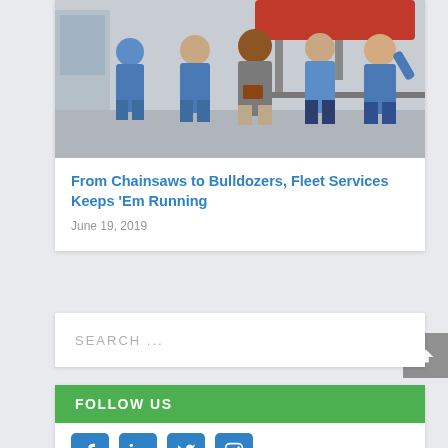[Figure (photo): Group photo of five people (mostly in blue polo shirts) standing in an automotive service garage with a vehicle lifted on a hoist in the background.]
From Chainsaws to Bulldozers, Fleet Services Keeps 'Em Running
June 19, 2019
SEARCH ...
FOLLOW US